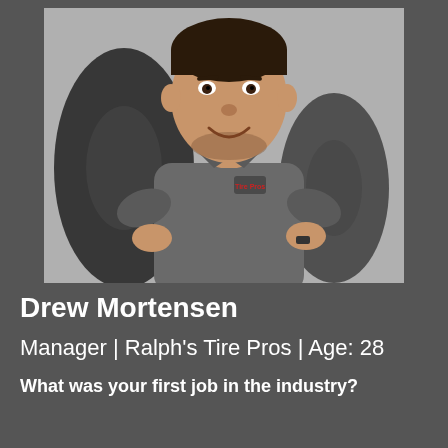[Figure (photo): Portrait photo of Drew Mortensen, a man wearing a gray Ralph's Tire Pros polo shirt, standing with hands on hips in front of large tires in a garage/shop setting, smiling at camera.]
Drew Mortensen
Manager | Ralph's Tire Pros | Age: 28
What was your first job in the industry?